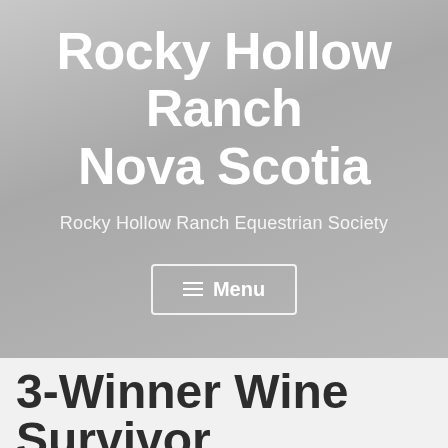Rocky Hollow Ranch Nova Scotia
Rocky Hollow Ranch Equestrian Society
☰ Menu
3-Winner Wine Survivor